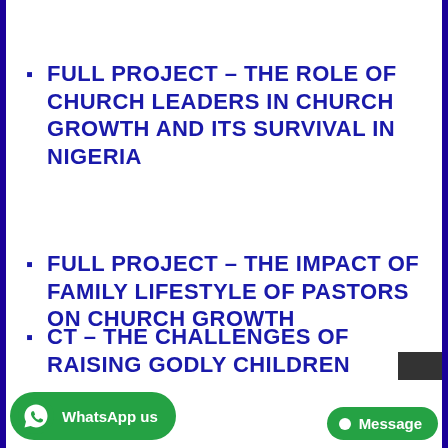FULL PROJECT – THE ROLE OF CHURCH LEADERS IN CHURCH GROWTH AND ITS SURVIVAL IN NIGERIA
FULL PROJECT – THE IMPACT OF FAMILY LIFESTYLE OF PASTORS ON CHURCH GROWTH
FULL PROJECT – THE CHALLENGES OF RAISING GODLY CHILDREN